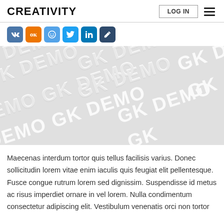CREATIVITY
[Figure (screenshot): Navigation bar with LOG IN button and hamburger menu icon]
[Figure (infographic): Social share buttons: VK, OK, smile/messenger, Twitter, LinkedIn, edit/pencil]
[Figure (photo): GK DEMO watermark image repeated diagonally on light gray background]
Maecenas interdum tortor quis tellus facilisis varius. Donec sollicitudin lorem vitae enim iaculis quis feugiat elit pellentesque. Fusce congue rutrum lorem sed dignissim. Suspendisse id metus ac risus imperdiet ornare in vel lorem. Nulla condimentum consectetur adipiscing elit. Vestibulum venenatis orci non tortor